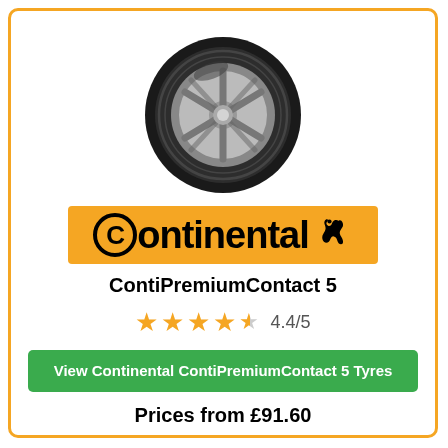[Figure (photo): Continental ContiPremiumContact 5 tyre product image, black tyre with silver alloy wheel, angled view]
[Figure (logo): Continental brand logo — orange/yellow rectangular background with black bold Continental text and rearing horse icon]
ContiPremiumContact 5
4.4/5 star rating (4 full stars and 1 partial star shown in orange)
View Continental ContiPremiumContact 5 Tyres
Prices from £91.60